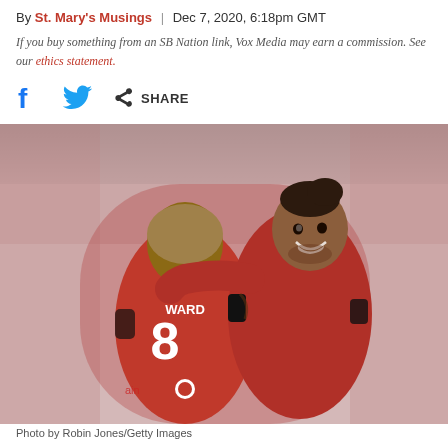By St. Mary's Musings | Dec 7, 2020, 6:18pm GMT
If you buy something from an SB Nation link, Vox Media may earn a commission. See our ethics statement.
[Figure (other): Social share bar with Facebook icon, Twitter bird icon, and share icon with SHARE label]
[Figure (photo): Two Southampton FC players in red jerseys hugging/celebrating on the pitch. The player facing away has 'WARD' and number 8 on his back. The other player is smiling at the camera. Stadium seats visible in background.]
Photo by Robin Jones/Getty Images